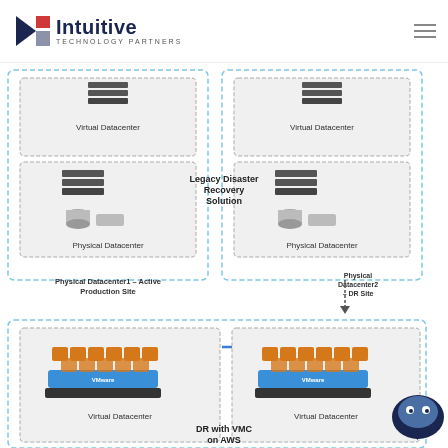[Figure (logo): Intuitive Technology Partners logo with triangular icon in blue and red]
[Figure (schematic): Engineering diagram showing Legacy Disaster Recovery Solution (top) with two Physical Datacenters each containing Virtual Datacenter and Physical Datacenter components, and DR with VMC on AWS (bottom) with SRM Replication arrow between two Virtual Datacenters]